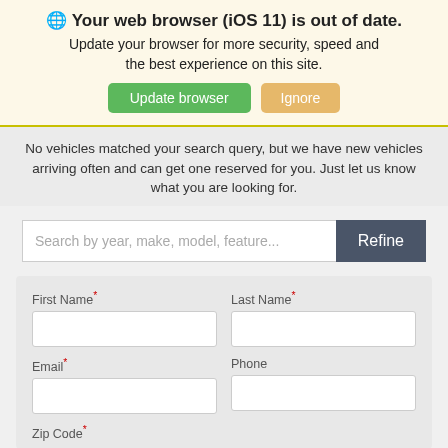🌐 Your web browser (iOS 11) is out of date. Update your browser for more security, speed and the best experience on this site.
No vehicles matched your search query, but we have new vehicles arriving often and can get one reserved for you. Just let us know what you are looking for.
Search by year, make, model, feature...
[Figure (screenshot): Form with fields: First Name (required), Last Name (required), Email (required), Phone, Zip Code (required)]